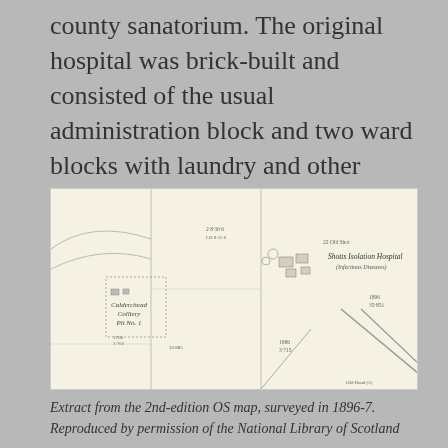county sanatorium. The original hospital was brick-built and consisted of the usual administration block and two ward blocks with laundry and other ancillary buildings.
[Figure (map): Extract from 2nd-edition OS map showing Calderchead Colliery Pit No. 1 on the left and Shotts Isolation Hospital (Infection Rooms) on the right, with surrounding fields and roads.]
Extract from the 2nd-edition OS map, surveyed in 1896-7. Reproduced by permission of the National Library of Scotland